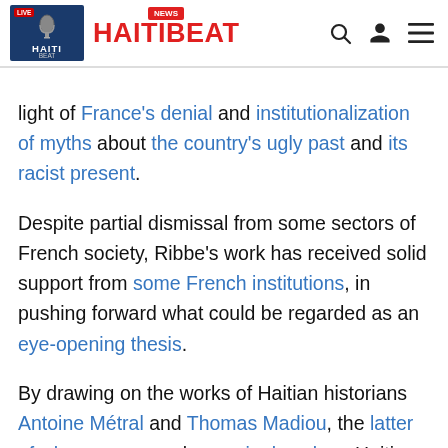HAITIBEAT
light of France's denial and institutionalization of myths about the country's ugly past and its racist present. Despite partial dismissal from some sectors of French society, Ribbe's work has received solid support from some French institutions, in pushing forward what could be regarded as an eye-opening thesis. By drawing on the works of Haitian historians Antoine Métral and Thomas Madiou, the latter of whom composed a seminal work on Haitian literature and history, as well as leading French abolitionist writer and Second Republic politician Victor Schœlcher, Ribbe made his case that Napoleonic France succeeded at systematically killing large numbers of Afro-Haitians. In countering Ribbe's point that French killings of Afro-